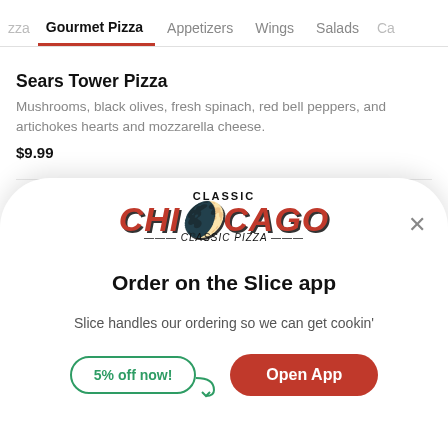zza   Gourmet Pizza   Appetizers   Wings   Salads   Ca
Sears Tower Pizza
Mushrooms, black olives, fresh spinach, red bell peppers, and artichokes hearts and mozzarella cheese.
$9.99
Blackhawks Pizza
Olive oil
[Figure (logo): Classic Chicago pizza logo with stylized red CHICAGO text]
Order on the Slice app
Slice handles our ordering so we can get cookin'
5% off now!
Open App